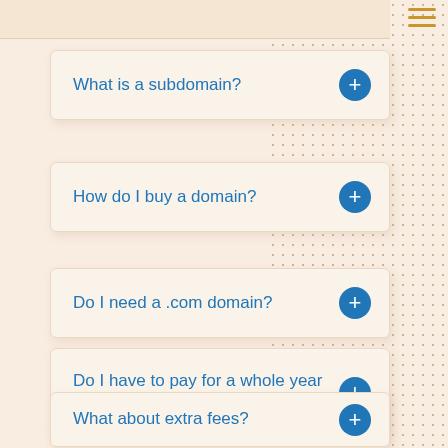What is a subdomain?
How do I buy a domain?
Do I need a .com domain?
Do I have to pay for a whole year of hosting at a time?
What about extra fees?